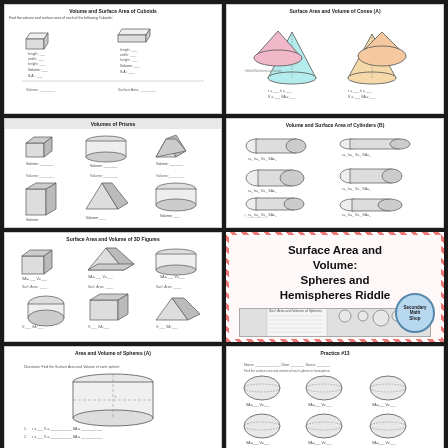[Figure (illustration): Worksheet titled 'Volume and Surface Area of Cuboids' with fill-in blanks and rectangular prism shapes]
[Figure (illustration): Worksheet titled 'Surface Area and Volume of Cones (A)' with colored cone diagrams]
[Figure (illustration): Worksheet titled 'Volumes of Prisms' showing various 3D prism shapes to calculate volume]
[Figure (illustration): Worksheet titled 'Volume and Surface Area of Cylinders (B)' with cylinder shapes]
[Figure (illustration): Worksheet for surface area and volume of 3D figures with prisms and cylinders]
[Figure (illustration): Highlighted card: Surface Area and Volume: Spheres and Hemispheres Riddle with Secondary Math Shop badge]
[Figure (illustration): Worksheet titled 'Area and Volume of Spheres (A)' with cylinder illustration]
[Figure (illustration): Worksheet titled 'Practice #13' with sphere and oval shapes]